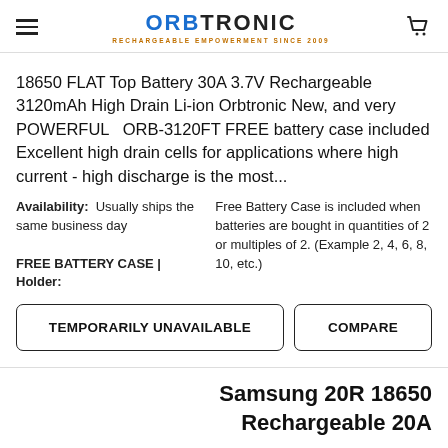ORBTRONIC — RECHARGEABLE EMPOWERMENT SINCE 2009
18650 FLAT Top Battery 30A 3.7V Rechargeable 3120mAh High Drain Li-ion Orbtronic New, and very POWERFUL   ORB-3120FT FREE battery case included Excellent high drain cells for applications where high current - high discharge is the most...
Availability: Usually ships the same business day
FREE BATTERY CASE | Holder:
Free Battery Case is included when batteries are bought in quantities of 2 or multiples of 2. (Example 2, 4, 6, 8, 10, etc.)
TEMPORARILY UNAVAILABLE
COMPARE
Samsung 20R 18650 Rechargeable 20A